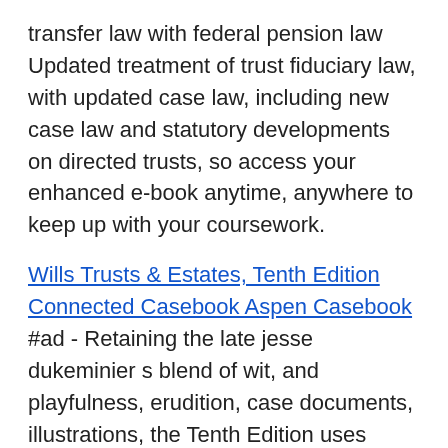transfer law with federal pension law Updated treatment of trust fiduciary law, with updated case law, including new case law and statutory developments on directed trusts, so access your enhanced e-book anytime, anywhere to keep up with your coursework.
Wills Trusts & Estates, Tenth Edition Connected Casebook Aspen Casebook #ad - Retaining the late jesse dukeminier s blend of wit, and playfulness, erudition, case documents, illustrations, the Tenth Edition uses cartoons, and photographs to provide visual commentary that augments the wide-ranging cases and other readings. Hailed as one of the best casebooks in legal education, thoughtful analysis, the text combines interesting cases, notes, images, and a clear organization for an excellent teaching tool